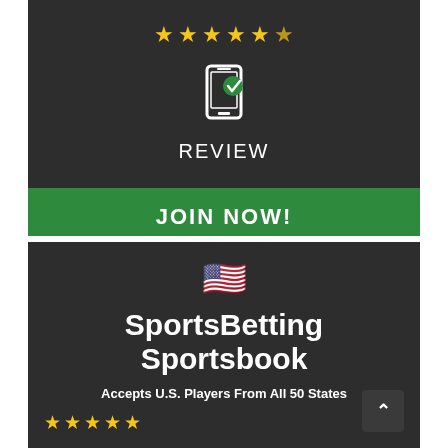[Figure (other): Five gold stars rating row in top dark card]
[Figure (illustration): Smartphone icon with green checkmark overlay]
REVIEW
JOIN NOW!
[Figure (illustration): US flag emoji]
SportsBetting Sportsbook
Accepts U.S. Players From All 50 States
[Figure (other): Five gold stars rating row in bottom dark card]